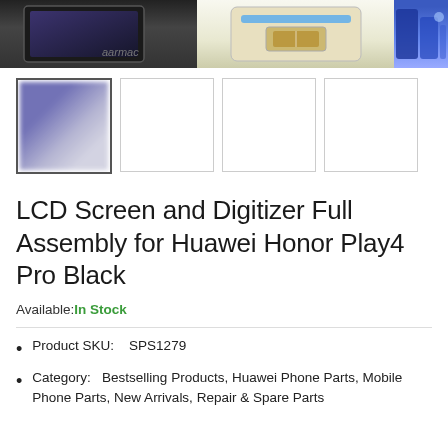[Figure (photo): Top banner showing three product images: a dark phone screen assembly on the left, a phone component/connector in the middle, and a blue social media or product image on the right]
[Figure (photo): Row of four product thumbnail images. First thumbnail (active/selected, highlighted border) shows a blurred phone LCD assembly with purple/blue color. Three remaining thumbnails are empty white boxes with borders.]
LCD Screen and Digitizer Full Assembly for Huawei Honor Play4 Pro Black
Available: In Stock
Product SKU:    SPS1279
Category:    Bestselling Products, Huawei Phone Parts, Mobile Phone Parts, New Arrivals, Repair & Spare Parts